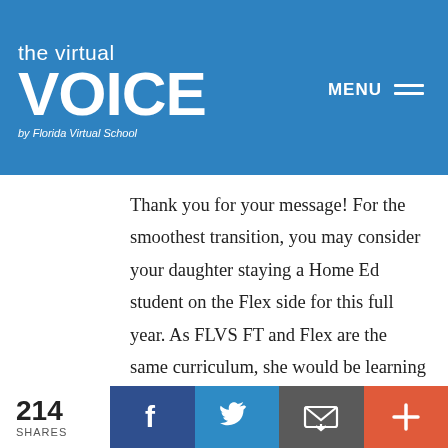the virtual VOICE by Florida Virtual School
Thank you for your message! For the smoothest transition, you may consider your daughter staying a Home Ed student on the Flex side for this full year. As FLVS FT and Flex are the same curriculum, she would be learning the same material, have the same wonderful teachers etc! I find that for most students, it’s best not to move them in the middle of the year. An easier transition would be the fall of her 3rd grade year. Our awesome elementary team would be able to give you even more information, please
214 SHARES